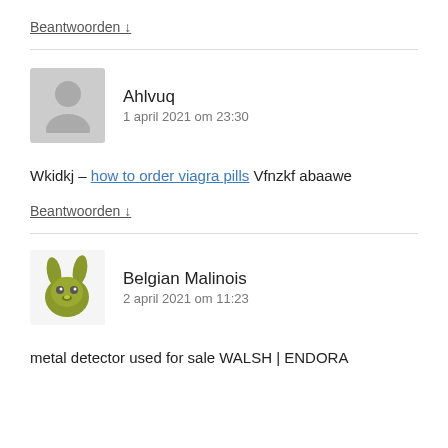Beantwoorden ↓
Ahlvuq
1 april 2021 om 23:30
Wkidkj – how to order viagra pills Vfnzkf abaawe
Beantwoorden ↓
Belgian Malinois
2 april 2021 om 11:23
metal detector used for sale WALSH | ENDORA